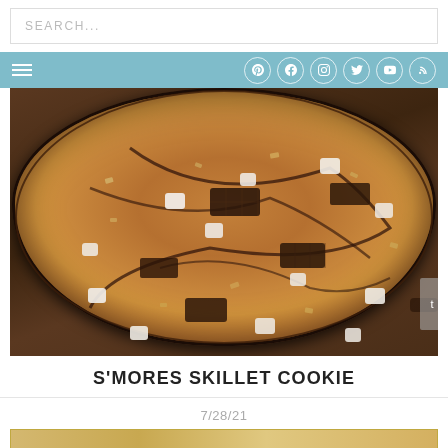SEARCH...
navigation bar with hamburger menu and social icons
[Figure (photo): S'mores skillet cookie in a cast iron pan, topped with marshmallows, Hershey's chocolate pieces, graham cracker crumbs, and chocolate drizzle, on a wooden surface]
S'MORES SKILLET COOKIE
7/28/21